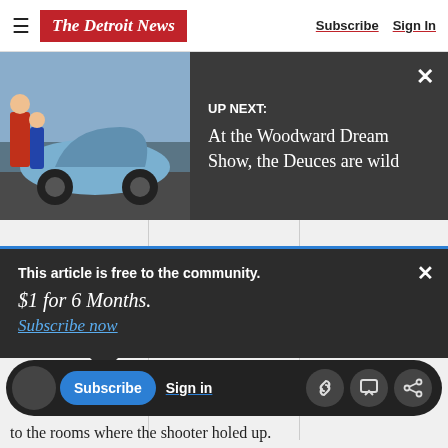The Detroit News | Subscribe | Sign In
[Figure (screenshot): Up Next banner with photo of blue vintage car and text: UP NEXT: At the Woodward Dream Show, the Deuces are wild]
[Figure (other): READ MORE button in red with rounded corners]
This article is free to the community.
$1 for 6 Months.
Subscribe now
to the rooms where the shooter holed up.